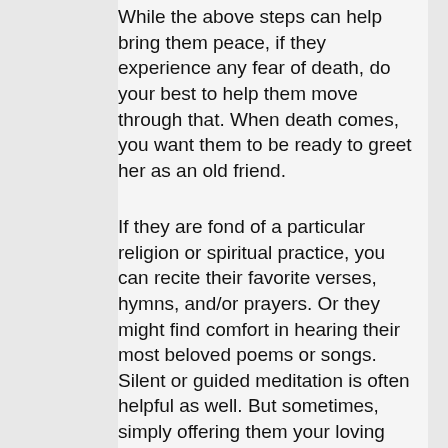While the above steps can help bring them peace, if they experience any fear of death, do your best to help them move through that. When death comes, you want them to be ready to greet her as an old friend.
If they are fond of a particular religion or spiritual practice, you can recite their favorite verses, hymns, and/or prayers. Or they might find comfort in hearing their most beloved poems or songs. Silent or guided meditation is often helpful as well. But sometimes, simply offering them your loving presence and holding their hand is enough.